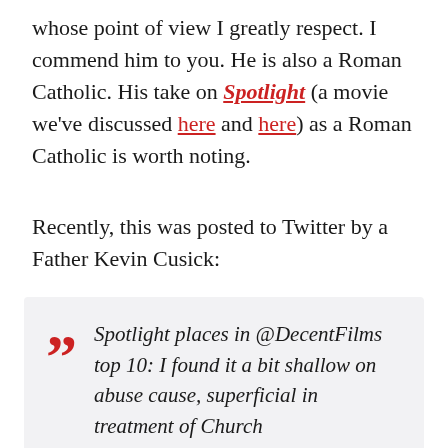whose point of view I greatly respect. I commend him to you. He is also a Roman Catholic. His take on Spotlight (a movie we've discussed here and here) as a Roman Catholic is worth noting.
Recently, this was posted to Twitter by a Father Kevin Cusick:
Spotlight places in @DecentFilms top 10: I found it a bit shallow on abuse cause, superficial in treatment of Church
Greydanus (@DecentFilms), over several tweets, responded with this: